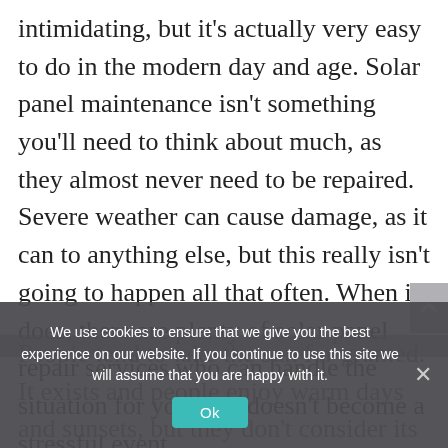intimidating, but it's actually very easy to do in the modern day and age. Solar panel maintenance isn't something you'll need to think about much, as they almost never need to be repaired. Severe weather can cause damage, as it can to anything else, but this really isn't going to happen all that often. When it does, there are plenty of solar panel repair services who can handle the situation for you so it doesn't become a stressful event.
People tend to take the sun for granted. It exists and people enjoy warm days and sunsets, but they don't consider its power. They don't think about how, without the sun,
We use cookies to ensure that we give you the best experience on our website. If you continue to use this site we will assume that you are happy with it.